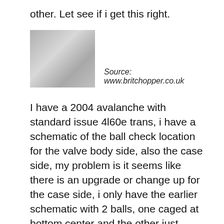other. Let see if i get this right.
[Figure (photo): A partially visible image, greyed out placeholder thumbnail]
Source: www.britchopper.co.uk
I have a 2004 avalanche with standard issue 4l60e trans, i have a schematic of the ball check location for the valve body side, also the case side, my problem is it seems like there is an upgrade or change up for the case side, i only have the earlier schematic with 2 balls, one caged at bottom center and the other just above the accumulator, i am thinking there is now a. I do not intend on pulling the transmission.